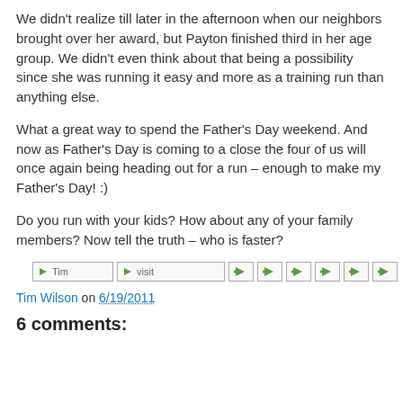We didn’t realize till later in the afternoon when our neighbors brought over her award, but Payton finished third in her age group.  We didn’t even think about that being a possibility since she was running it easy and more as a training run than anything else.
What a great way to spend the Father’s Day weekend.  And now as Father’s Day is coming to a close the four of us will once again being heading out for a run – enough to make my Father’s Day! :)
Do you run with your kids?  How about any of your family members?  Now tell the truth – who is faster?
[Figure (other): Row of social sharing icon buttons: Tim, visit, and several small arrow/share icons]
Tim Wilson on 6/19/2011
6 comments: